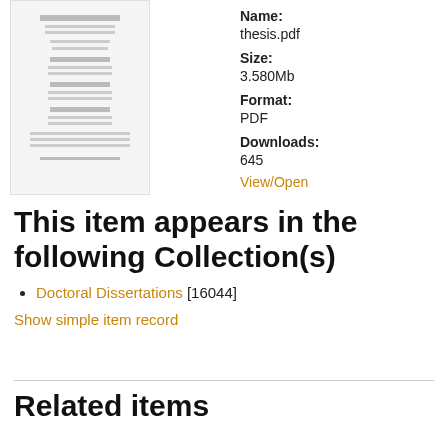[Figure (other): Thumbnail preview of thesis.pdf document cover page]
Name:
thesis.pdf
Size:
3.580Mb
Format:
PDF
Downloads:
645
View/Open
This item appears in the following Collection(s)
Doctoral Dissertations [16044]
Show simple item record
Related items